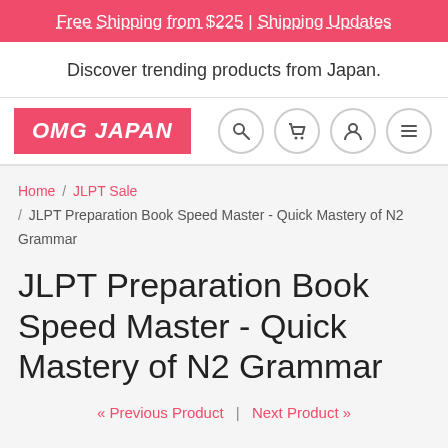Free Shipping from $225 | Shipping Updates
Discover trending products from Japan.
[Figure (logo): OMG JAPAN logo in white italic text on pink/red background, with navigation icons (search, cart, user, menu) on the right]
Home / JLPT Sale / JLPT Preparation Book Speed Master - Quick Mastery of N2 Grammar
JLPT Preparation Book Speed Master - Quick Mastery of N2 Grammar
« Previous Product  |  Next Product »